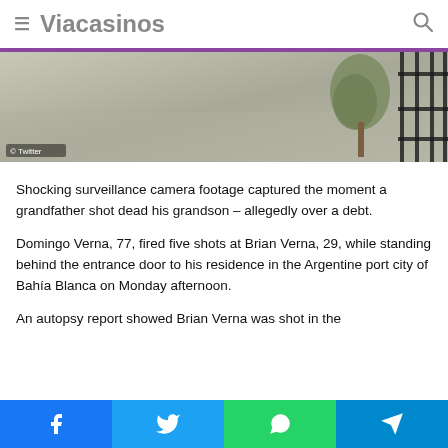Viacasinos
[Figure (photo): Surveillance camera footage showing an outdoor area with a tree and iron fence railing. Photo credited to Twitter.]
Shocking surveillance camera footage captured the moment a grandfather shot dead his grandson – allegedly over a debt.
Domingo Verna, 77, fired five shots at Brian Verna, 29, while standing behind the entrance door to his residence in the Argentine port city of Bahía Blanca on Monday afternoon.
An autopsy report showed Brian Verna was shot in the